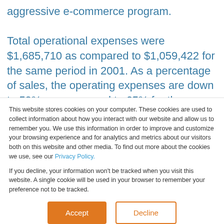aggressive e-commerce program. Total operational expenses were $1,685,710 as compared to $1,059,422 for the same period in 2001. As a percentage of sales, the operating expenses are down to 59%, as compared to 65% for the same period in
This website stores cookies on your computer. These cookies are used to collect information about how you interact with our website and allow us to remember you. We use this information in order to improve and customize your browsing experience and for analytics and metrics about our visitors both on this website and other media. To find out more about the cookies we use, see our Privacy Policy.
If you decline, your information won't be tracked when you visit this website. A single cookie will be used in your browser to remember your preference not to be tracked.